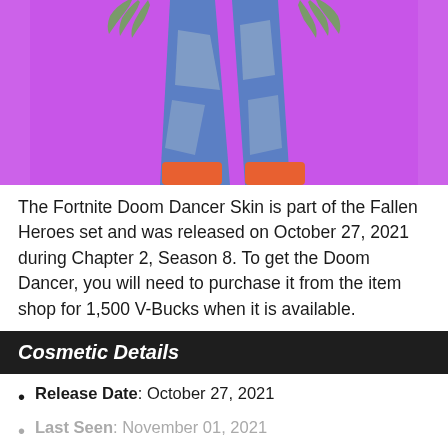[Figure (photo): Fortnite Doom Dancer skin character shown from waist down on a purple background, wearing blue and grey patterned leggings with orange accents, hands posed with clawed fingers.]
The Fortnite Doom Dancer Skin is part of the Fallen Heroes set and was released on October 27, 2021 during Chapter 2, Season 8. To get the Doom Dancer, you will need to purchase it from the item shop for 1,500 V-Bucks when it is available.
Cosmetic Details
Release Date: October 27, 2021
Last Seen: November 01, 2021